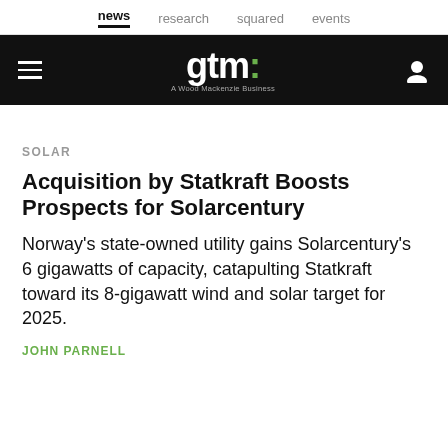news  research  squared  events
gtm: A Wood Mackenzie Business
SOLAR
Acquisition by Statkraft Boosts Prospects for Solarcentury
Norway's state-owned utility gains Solarcentury's 6 gigawatts of capacity, catapulting Statkraft toward its 8-gigawatt wind and solar target for 2025.
JOHN PARNELL